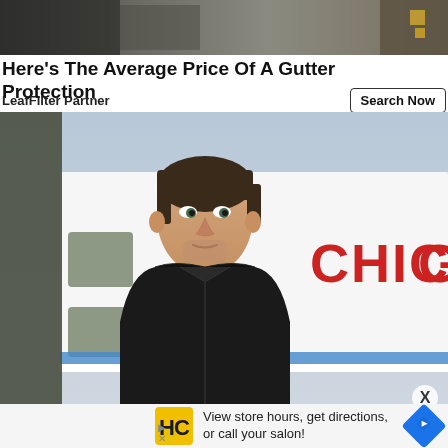[Figure (photo): Top banner area showing partial image of military/utility equipment, dark tones]
Here's The Average Price Of A Gutter Protection
LeafFilter Partner
Search Now
[Figure (photo): Man in black vest standing in front of a Chicago ambulance/emergency vehicle, looking to the side. The word CHICAGO is visible in red letters on the white vehicle behind him.]
X
[Figure (photo): Bottom advertisement banner with HC logo (yellow/black), text 'View store hours, get directions, or call your salon!' and a blue diamond-shaped navigation arrow icon]